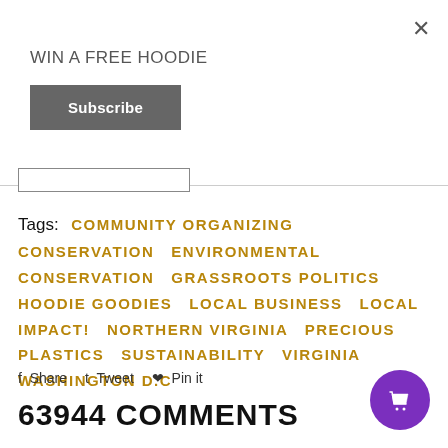WIN A FREE HOODIE
Subscribe
Tags: COMMUNITY ORGANIZING  CONSERVATION  ENVIRONMENTAL CONSERVATION  GRASSROOTS POLITICS  HOODIE GOODIES  LOCAL BUSINESS  LOCAL IMPACT!  NORTHERN VIRGINIA  PRECIOUS PLASTICS  SUSTAINABILITY  VIRGINIA  WASHINGTON D.C
Share  Tweet  Pin it
63944 COMMENTS